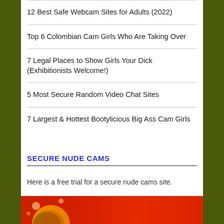12 Best Safe Webcam Sites for Adults (2022)
Top 6 Colombian Cam Girls Who Are Taking Over
7 Legal Places to Show Girls Your Dick (Exhibitionists Welcome!)
5 Most Secure Random Video Chat Sites
7 Largest & Hottest Bootylicious Big Ass Cam Girls
SECURE NUDE CAMS
Here is a free trial for a secure nude cams site.
[Figure (photo): Partial image of a person with reddish background, cut off at bottom of page]